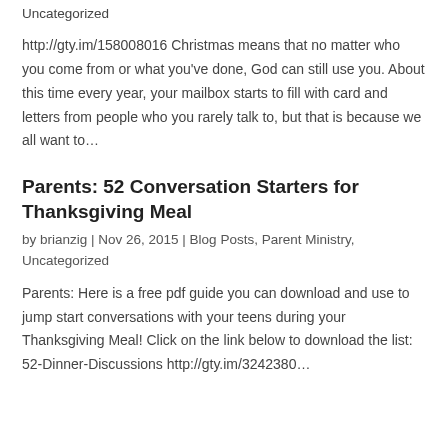Uncategorized
http://gty.im/158008016 Christmas means that no matter who you come from or what you've done, God can still use you. About this time every year, your mailbox starts to fill with card and letters from people who you rarely talk to, but that is because we all want to…
Parents: 52 Conversation Starters for Thanksgiving Meal
by brianzig | Nov 26, 2015 | Blog Posts, Parent Ministry, Uncategorized
Parents: Here is a free pdf guide you can download and use to jump start conversations with your teens during your Thanksgiving Meal! Click on the link below to download the list: 52-Dinner-Discussions http://gty.im/3242380...